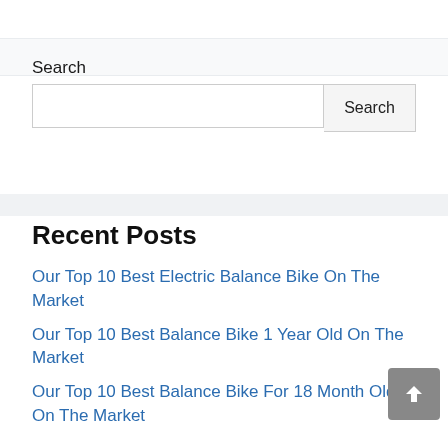Search
Search input box with Search button
Recent Posts
Our Top 10 Best Electric Balance Bike On The Market
Our Top 10 Best Balance Bike 1 Year Old On The Market
Our Top 10 Best Balance Bike For 18 Month Old On The Market